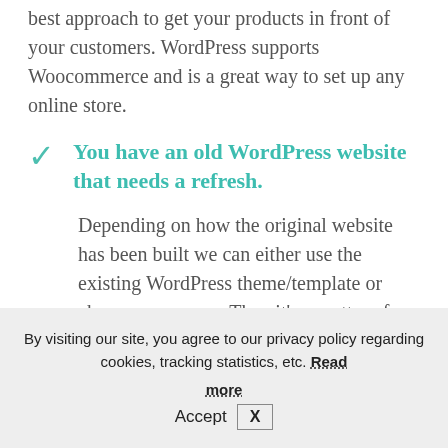best approach to get your products in front of your customers. WordPress supports Woocommerce and is a great way to set up any online store.
You have an old WordPress website that needs a refresh.
Depending on how the original website has been built we can either use the existing WordPress theme/template or choose a new one. Then it's a matter of reconfiguring the layout and content
By visiting our site, you agree to our privacy policy regarding cookies, tracking statistics, etc. Read more
Accept X